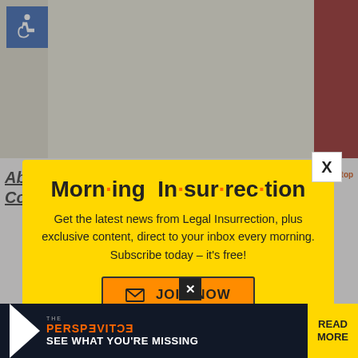[Figure (screenshot): Background webpage content: accessibility icon, Hebrew-transliterated song text, red vertical bar on right, article title and text at bottom]
[Figure (screenshot): Modal popup with yellow background. Title: 'Morning Insurrection' with orange dots. Body text: 'Get the latest news from Legal Insurrection, plus exclusive content, direct to your inbox every morning. Subscribe today – it's free!' Orange JOIN NOW button with envelope icon. X close button top right.]
Morn·ing In·sur·rec·tion
Get the latest news from Legal Insurrection, plus exclusive content, direct to your inbox every morning. Subscribe today – it's free!
JOIN NOW
[Figure (screenshot): Bottom ad banner: THE PERSPECTIVE - SEE WHAT YOU'RE MISSING with READ MORE button on yellow background]